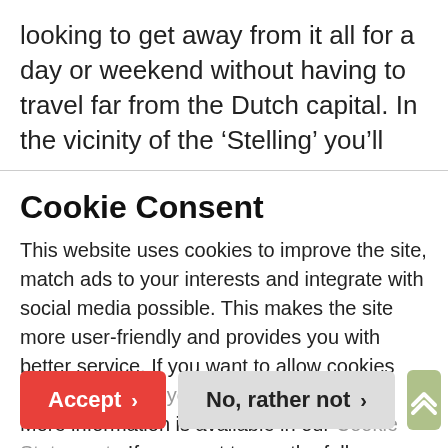looking to get away from it all for a day or weekend without having to travel far from the Dutch capital. In the vicinity of the ‘Stelling’ you’ll
Cookie Consent
This website uses cookies to improve the site, match ads to your interests and integrate with social media possible. This makes the site more user-friendly and provides you with better service. If you want to allow cookies you can change your settings. More information is available in our Cookie Statement . If you want to use the full functionality of this website click Accept cookies.